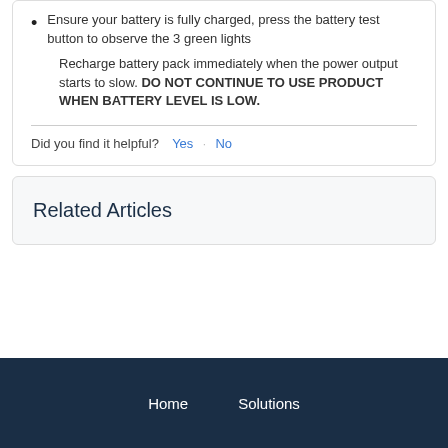Ensure your battery is fully charged, press the battery test button to observe the 3 green lights
Recharge battery pack immediately when the power output starts to slow. DO NOT CONTINUE TO USE PRODUCT WHEN BATTERY LEVEL IS LOW.
Did you find it helpful? Yes · No
Related Articles
Home    Solutions